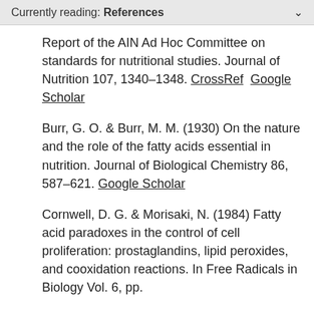Currently reading: References
Report of the AIN Ad Hoc Committee on standards for nutritional studies. Journal of Nutrition 107, 1340–1348. CrossRef  Google Scholar
Burr, G. O. & Burr, M. M. (1930) On the nature and the role of the fatty acids essential in nutrition. Journal of Biological Chemistry 86, 587–621. Google Scholar
Cornwell, D. G. & Morisaki, N. (1984) Fatty acid paradoxes in the control of cell proliferation: prostaglandins, lipid peroxides, and cooxidation reactions. In Free Radicals in Biology Vol. 6, pp.